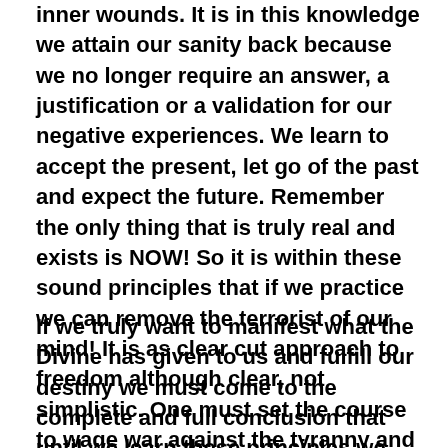inner wounds. It is in this knowledge we attain our sanity back because we no longer require an answer, a justification or a validation for our negative experiences. We learn to accept the present, let go of the past and expect the future. Remember the only thing that is truly real and exists is NOW! So it is within these sound principles that if we practice we can remove the terrorist of our mind! It is as clear cut approach to freedom although clear, not simplistic. One must set the course to wage war against the tyranny and commit 100% to the battle!
If we truly want to manifest what the Divine has given to us and fulfill our destiny we must come to the complete and full conclusion that until we learn these principles we are fractured and cracked. We, in a sense are broken and can not attain to the power of